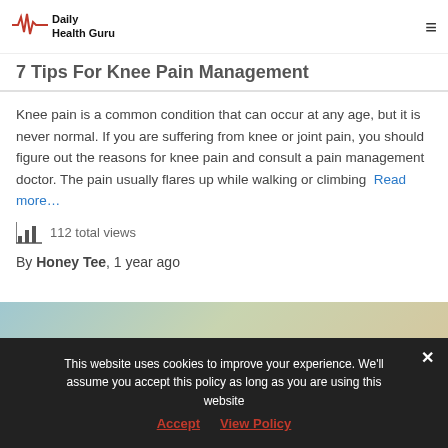Daily Health Guru
7 Tips For Knee Pain Management
Knee pain is a common condition that can occur at any age, but it is never normal. If you are suffering from knee or joint pain, you should figure out the reasons for knee pain and consult a pain management doctor. The pain usually flares up while walking or climbing Read more…
112 total views
By Honey Tee, 1 year ago
[Figure (photo): Partial image strip at bottom of article, showing a photograph related to knee pain management]
This website uses cookies to improve your experience. We'll assume you accept this policy as long as you are using this website Accept View Policy